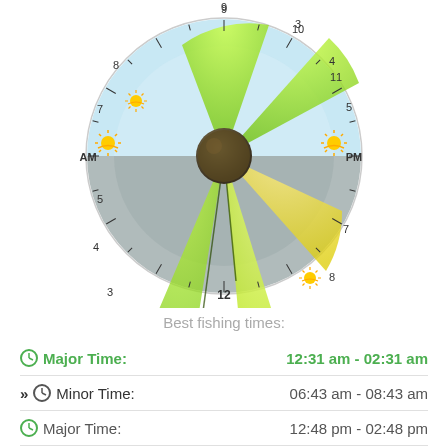[Figure (other): Circular fishing solunar clock dial with numbered hour positions (1-12 AM and PM), colored sectors showing major and minor fishing times in green and yellow-green, sunrise/sunset sun icons at AM and PM positions, dark center hub, and gradient background from light blue (top) to gray (bottom).]
Best fishing times:
Major Time:  12:31 am - 02:31 am
Minor Time:  06:43 am - 08:43 am
Major Time:  12:48 pm - 02:48 pm